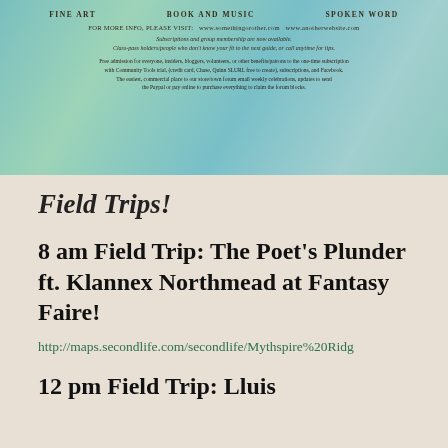[Figure (infographic): Banner image with teal/green watercolor-style background. Contains column-style headings in uppercase, URLs, a tagline, and descriptive body text about an event or organization.]
Field Trips!
8 am Field Trip: The Poet's Plunder ft. Klannex Northmead at Fantasy Faire!
http://maps.secondlife.com/secondlife/Mythspire%20Ridg
12 pm Field Trip:  Lluis